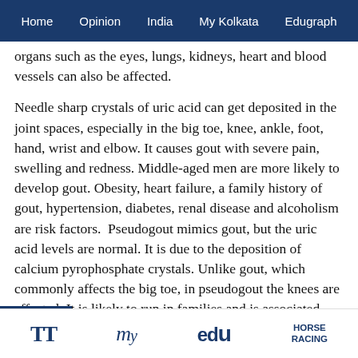Home  Opinion  India  My Kolkata  Edugraph
organs such as the eyes, lungs, kidneys, heart and blood vessels can also be affected.
Needle sharp crystals of uric acid can get deposited in the joint spaces, especially in the big toe, knee, ankle, foot, hand, wrist and elbow. It causes gout with severe pain, swelling and redness. Middle-aged men are more likely to develop gout. Obesity, heart failure, a family history of gout, hypertension, diabetes, renal disease and alcoholism are risk factors. Pseudogout mimics gout, but the uric acid levels are normal. It is due to the deposition of calcium pyrophosphate crystals. Unlike gout, which commonly affects the big toe, in pseudogout the knees are affected. It is likely to run in families and is associated with a mineral imbalance between calcium, phosphorous and magnesium. It can
TT  my  edu  HORSE RACING